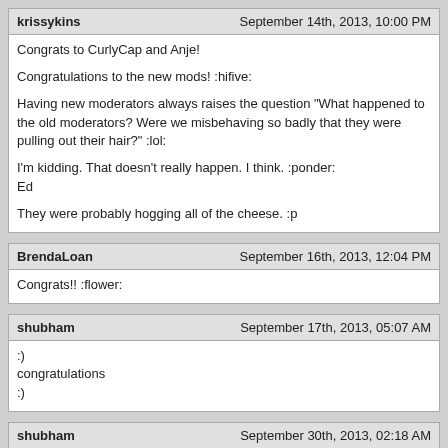krissykins | September 14th, 2013, 10:00 PM
Congrats to CurlyCap and Anje!

Congulations to the new mods! :hifive:

Having new moderators always raises the question "What happened to the old moderators? Were we misbehaving so badly that they were pulling out their hair?" :lol:

I'm kidding. That doesn't really happen. I think. :ponder:
Ed

They were probably hogging all of the cheese. :p
BrendaLoan | September 16th, 2013, 12:04 PM
Congrats!! :flower:
shubham | September 17th, 2013, 05:07 AM
:)
congratulations
:)
shubham | September 30th, 2013, 02:18 AM
Nice, Congratulations...Thanks for share with us.
Wolfie | July 18th, 2014, 10:46 AM